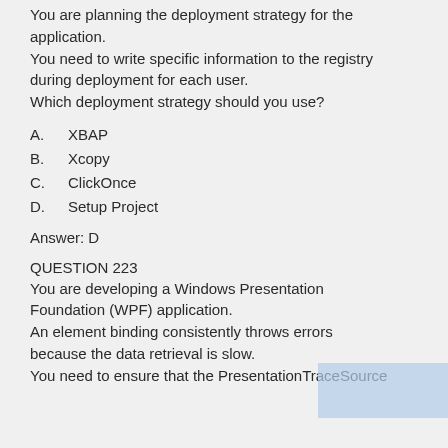You are planning the deployment strategy for the application. You need to write specific information to the registry during deployment for each user. Which deployment strategy should you use?
A.    XBAP
B.    Xcopy
C.    ClickOnce
D.    Setup Project
Answer: D
QUESTION 223
You are developing a Windows Presentation Foundation (WPF) application. An element binding consistently throws errors because the data retrieval is slow. You need to ensure that the PresentationTraceSource binding is configured to show the message of the